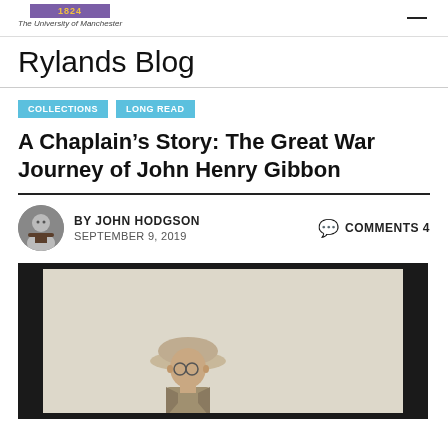1824 The University of Manchester — Rylands Blog
Rylands Blog
COLLECTIONS
LONG READ
A Chaplain's Story: The Great War Journey of John Henry Gibbon
BY JOHN HODGSON   COMMENTS 4
SEPTEMBER 9, 2019
[Figure (photo): Black and white photograph of a man wearing a military uniform and a pith helmet, set against a light background with a dark border.]